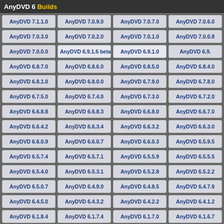AnyDVD 6 Builds
AnyDVD 7.1.1.0
AnyDVD 7.0.9.0
AnyDVD 7.0.7.0
AnyDVD 7.0.6.0
AnyDVD 7.0.3.0
AnyDVD 7.0.2.0
AnyDVD 7.0.1.0
AnyDVD 7.0.0.8
AnyDVD 7.0.0.0
AnyDVD 6.9.1.6 beta
AnyDVD 6.9.1.0
AnyDVD 6.9.
AnyDVD 6.8.7.0
AnyDVD 6.8.6.0
AnyDVD 6.8.5.0
AnyDVD 6.8.4.0
AnyDVD 6.8.1.0
AnyDVD 6.8.0.0
AnyDVD 6.7.9.0
AnyDVD 6.7.8.0
AnyDVD 6.7.5.0
AnyDVD 6.7.4.0
AnyDVD 6.7.3.0
AnyDVD 6.7.2.0
AnyDVD 6.6.8.8
AnyDVD 6.6.8.3
AnyDVD 6.6.8.0
AnyDVD 6.6.7.0
AnyDVD 6.6.4.2
AnyDVD 6.6.3.4
AnyDVD 6.6.3.2
AnyDVD 6.6.3.0
AnyDVD 6.6.0.9
AnyDVD 6.6.0.7
AnyDVD 6.6.0.3
AnyDVD 6.5.9.5
AnyDVD 6.5.7.4
AnyDVD 6.5.7.1
AnyDVD 6.5.5.9
AnyDVD 6.5.5.5
AnyDVD 6.5.4.0
AnyDVD 6.5.3.1
AnyDVD 6.5.2.8
AnyDVD 6.5.2.2
AnyDVD 6.5.0.7
AnyDVD 6.4.9.0
AnyDVD 6.4.8.5
AnyDVD 6.4.7.9
AnyDVD 6.4.5.0
AnyDVD 6.4.3.2
AnyDVD 6.4.2.2
AnyDVD 6.4.1.2
AnyDVD 6.1.8.4
AnyDVD 6.1.7.4
AnyDVD 6.1.7.0
AnyDVD 6.1.6.7